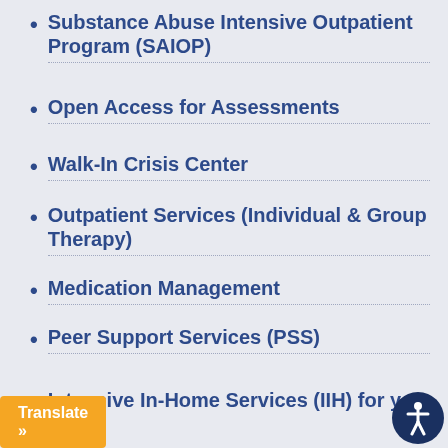Substance Abuse Intensive Outpatient Program (SAIOP)
Open Access for Assessments
Walk-In Crisis Center
Outpatient Services (Individual & Group Therapy)
Medication Management
Peer Support Services (PSS)
Intensive In-Home Services (IIH) for yo...